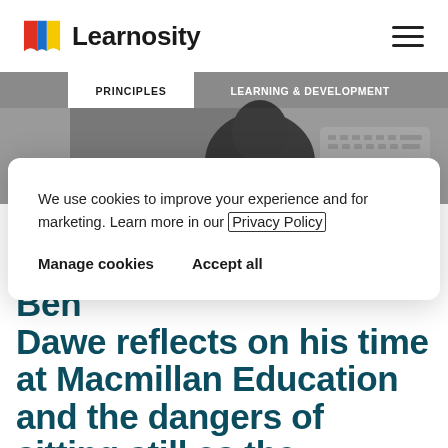Learnosity
[Figure (screenshot): Banner image showing a microphone and keyboard, with navigation tabs 'PRINCIPLES' and 'LEARNING & DEVELOPMENT']
We use cookies to improve your experience and for marketing. Learn more in our Privacy Policy
Manage cookies   Accept all
Business Development Ben Dawe reflects on his time at Macmillan Education and the dangers of sitting still as the